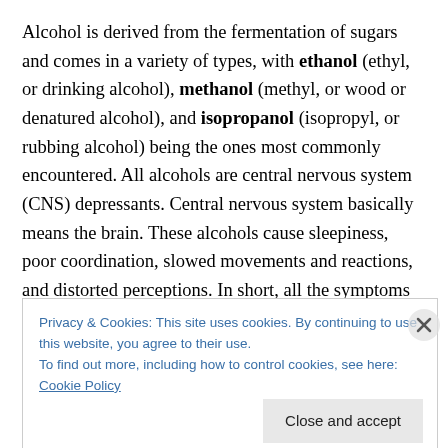Alcohol is derived from the fermentation of sugars and comes in a variety of types, with ethanol (ethyl, or drinking alcohol), methanol (methyl, or wood or denatured alcohol), and isopropanol (isopropyl, or rubbing alcohol) being the ones most commonly encountered. All alcohols are central nervous system (CNS) depressants. Central nervous system basically means the brain. These alcohols cause sleepiness, poor coordination, slowed movements and reactions, and distorted perceptions. In short, all the symptoms and signs you recognize in someone who is
Privacy & Cookies: This site uses cookies. By continuing to use this website, you agree to their use.
To find out more, including how to control cookies, see here: Cookie Policy